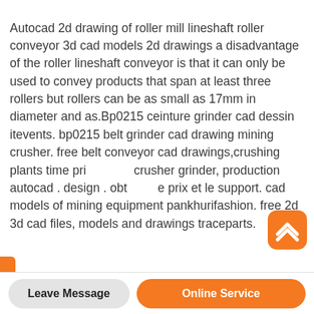Autocad 2d drawing of roller mill lineshaft roller conveyor 3d cad models 2d drawings a disadvantage of the roller lineshaft conveyor is that it can only be used to convey products that span at least three rollers but rollers can be as small as 17mm in diameter and as.Bp0215 ceinture grinder cad dessin itevents. bp0215 belt grinder cad drawing mining crusher. free belt conveyor cad drawings,crushing plants time prix crusher grinder, production autocad . design . obtenir le prix et le support. cad models of mining equipment pankhurifashion. free 2d 3d cad files, models and drawings traceparts.
[Figure (illustration): Orange rounded square button with white upward chevron arrow (scroll to top button)]
Leave Message    Online Service